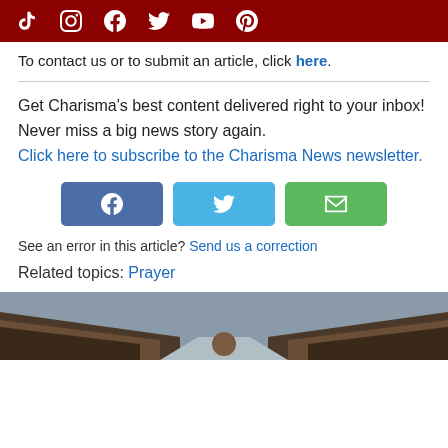[Figure (other): Dark red navigation bar with social media icons: TikTok, Instagram, Facebook, Twitter, YouTube, Pinterest in white]
To contact us or to submit an article, click here.
Get Charisma's best content delivered right to your inbox! Never miss a big news story again. Click here to subscribe to the Charisma News newsletter.
[Figure (other): Three share buttons: Facebook (blue), Twitter (light blue), Email (green)]
See an error in this article? Send us a correction
Related topics: Prayer
[Figure (photo): Bottom of a church interior with wooden pews on both sides and a person's head visible at the bottom center]